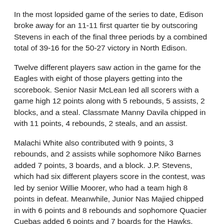In the most lopsided game of the series to date, Edison broke away for an 11-11 first quarter tie by outscoring Stevens in each of the final three periods by a combined total of 39-16 for the 50-27 victory in North Edison.
Twelve different players saw action in the game for the Eagles with eight of those players getting into the scorebook. Senior Nasir McLean led all scorers with a game high 12 points along with 5 rebounds, 5 assists, 2 blocks, and a steal. Classmate Manny Davila chipped in with 11 points, 4 rebounds, 2 steals, and an assist.
Malachi White also contributed with 9 points, 3 rebounds, and 2 assists while sophomore Niko Barnes added 7 points, 3 boards, and a block. J.P. Stevens, which had six different players score in the contest, was led by senior Willie Moorer, who had a team high 8 points in defeat. Meanwhile, Junior Nas Majied chipped in with 6 points and 8 rebounds and sophomore Quacier Cuebas added 6 points and 7 boards for the Hawks.
The game reflected the direction that the two programs were going at this point. Edison, which had now won the last two meetings, was on its way to getting a share of its first division title in school history while also reaching a county/conference Final Four for the